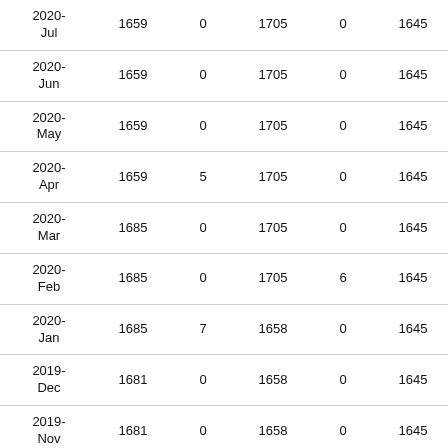| 2020-Jul | 1659 | 0 | 1705 | 0 | 1645 |
| 2020-Jun | 1659 | 0 | 1705 | 0 | 1645 |
| 2020-May | 1659 | 0 | 1705 | 0 | 1645 |
| 2020-Apr | 1659 | 5 | 1705 | 0 | 1645 |
| 2020-Mar | 1685 | 0 | 1705 | 0 | 1645 |
| 2020-Feb | 1685 | 0 | 1705 | 6 | 1645 |
| 2020-Jan | 1685 | 7 | 1658 | 0 | 1645 |
| 2019-Dec | 1681 | 0 | 1658 | 0 | 1645 |
| 2019-Nov | 1681 | 0 | 1658 | 0 | 1645 |
| 2019-Oct | 1681 | 0 | 1658 | 0 | 1645 |
| 2019-Sep | 1681 | 0 | 1658 | 0 | 1645 |
| 2019-... | 1681 | 0 | 1658 | 0 | 1645 |